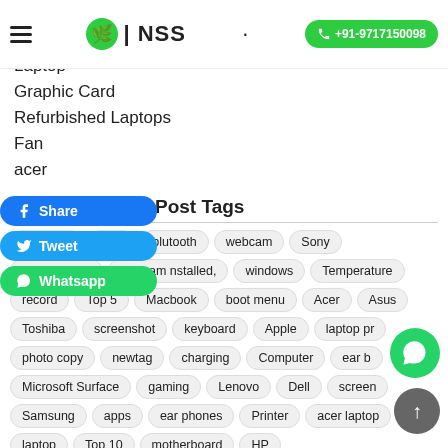NSS | +91-9717150098
Laptop
Graphic Card
Refurbished Laptops
Fan
acer
Post Tags
protector  bios  blutooth  webcam  Sony  google meet  webcam nstalled,  windows  Temperature  record  Top 5  Macbook  boot menu  Acer  Asus  Toshiba  screenshot  keyboard  Apple  laptop pr  photo copy  newtag  charging  Computer  ear b  Microsoft Surface  gaming  Lenovo  Dell  screen  Samsung  apps  ear phones  Printer  acer laptop  laptop  Top 10  motherboard  HP